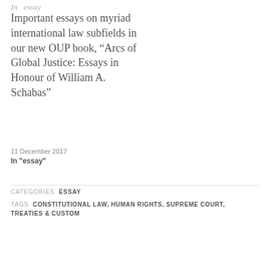In  essay
Important essays on myriad international law subfields in our new OUP book, “Arcs of Global Justice: Essays in Honour of William A. Schabas”
11 December 2017
In "essay"
CATEGORIES  ESSAY
TAGS  CONSTITUTIONAL LAW, HUMAN RIGHTS, SUPREME COURT, TREATIES & CUSTOM